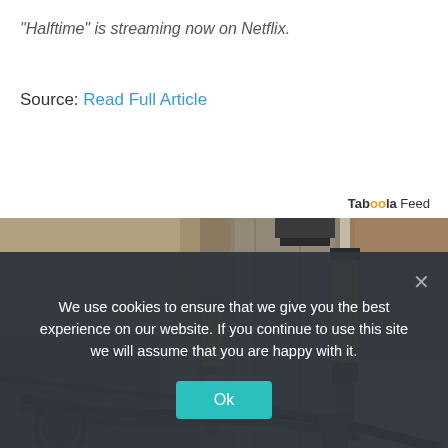“Halftime” is streaming now on Netflix.
Source: Read Full Article
Taboola Feed
[Figure (photo): Construction or foundation repair scene showing industrial hydraulic jack posts with yellow and black cylinders attached to a concrete foundation wall, with exposed earth and black cables/hoses visible.]
We use cookies to ensure that we give you the best experience on our website. If you continue to use this site we will assume that you are happy with it.